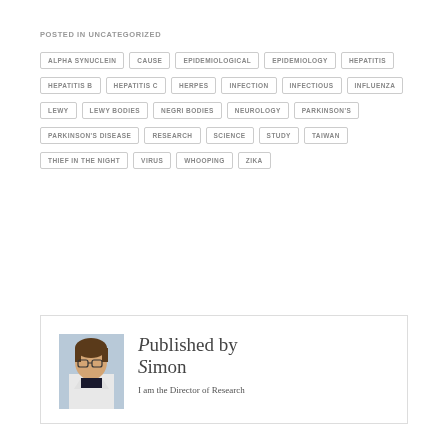POSTED IN UNCATEGORIZED
ALPHA SYNUCLEIN
CAUSE
EPIDEMIOLOGICAL
EPIDEMIOLOGY
HEPATITIS
HEPATITIS B
HEPATITIS C
HERPES
INFECTION
INFECTIOUS
INFLUENZA
LEWY
LEWY BODIES
NEGRI BODIES
NEUROLOGY
PARKINSON'S
PARKINSON'S DISEASE
RESEARCH
SCIENCE
STUDY
TAIWAN
THIEF IN THE NIGHT
VIRUS
WHOOPING
ZIKA
Published by Simon
I am the Director of Research